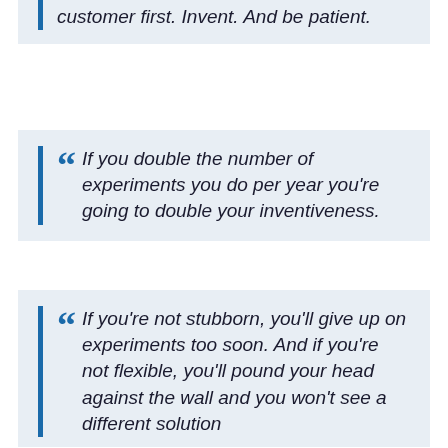customer first. Invent. And be patient.
If you double the number of experiments you do per year you're going to double your inventiveness.
If you're not stubborn, you'll give up on experiments too soon. And if you're not flexible, you'll pound your head against the wall and you won't see a different solution